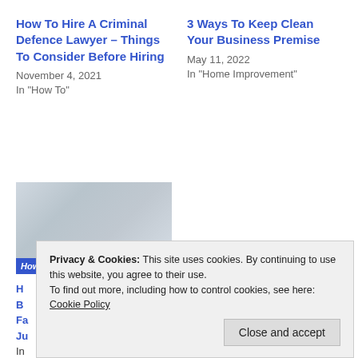How To Hire A Criminal Defence Lawyer – Things To Consider Before Hiring
November 4, 2021
In "How To"
3 Ways To Keep Clean Your Business Premise
May 11, 2022
In "Home Improvement"
[Figure (photo): Photo showing a desk with a tablet, papers, and small decorative items. A blue banner at the bottom reads 'How To Verify Your Business']
H
B
Fa
Ju
In Business
Privacy & Cookies: This site uses cookies. By continuing to use this website, you agree to their use.
To find out more, including how to control cookies, see here:
Cookie Policy
Close and accept